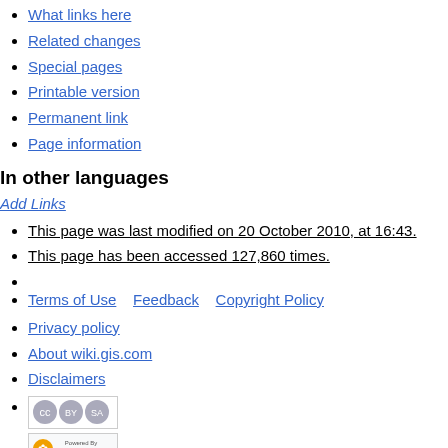What links here
Related changes
Special pages
Printable version
Permanent link
Page information
In other languages
Add Links
This page was last modified on 20 October 2010, at 16:43.
This page has been accessed 127,860 times.
Terms of Use    Feedback    Copyright Policy
Privacy policy
About wiki.gis.com
Disclaimers
[Figure (logo): Creative Commons BY-SA badge]
[Figure (logo): Powered by MediaWiki badge]